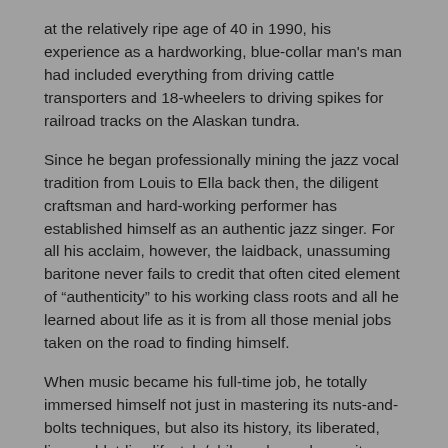at the relatively ripe age of 40 in 1990, his experience as a hardworking, blue-collar man's man had included everything from driving cattle transporters and 18-wheelers to driving spikes for railroad tracks on the Alaskan tundra.
Since he began professionally mining the jazz vocal tradition from Louis to Ella back then, the diligent craftsman and hard-working performer has established himself as an authentic jazz singer. For all his acclaim, however, the laidback, unassuming baritone never fails to credit that often cited element of “authenticity” to his working class roots and all he learned about life as it is from all those menial jobs taken on the road to finding himself.
When music became his full-time job, he totally immersed himself not just in mastering its nuts-and-bolts techniques, but also its history, its liberated, live-and-let-live lifestyle/philosophy and even its hipster argot, speaking fluently in its vocabulary and idioms.
Making a giant leap forward in his jazz career–maybe even a monumental, Clark Kentlike single bound–Gates, with his new